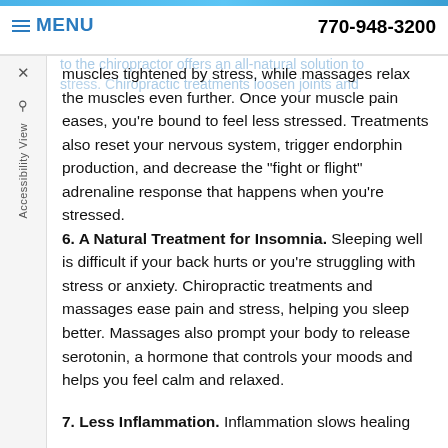MENU   770-948-3200
to the chiropractor offers an all-natural solution to stress. Chiropractic treatments loosen joints and muscles tightened by stress, while massages relax the muscles even further. Once your muscle pain eases, you're bound to feel less stressed. Treatments also reset your nervous system, trigger endorphin production, and decrease the "fight or flight" adrenaline response that happens when you're stressed.
6. A Natural Treatment for Insomnia. Sleeping well is difficult if your back hurts or you're struggling with stress or anxiety. Chiropractic treatments and massages ease pain and stress, helping you sleep better. Massages also prompt your body to release serotonin, a hormone that controls your moods and helps you feel calm and relaxed.
7. Less Inflammation. Inflammation slows healing